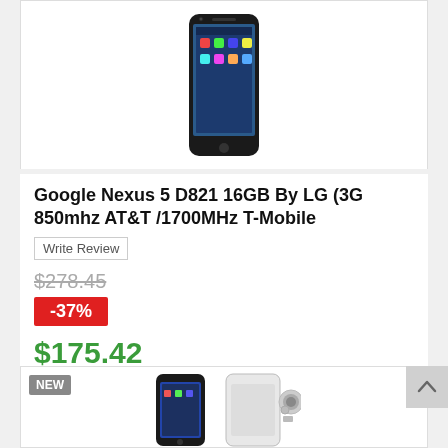[Figure (photo): Google Nexus 5 smartphone product image shown from front, with Android home screen visible, on white background]
Google Nexus 5 D821 16GB By LG (3G 850mhz AT&T /1700MHz T-Mobile
Write Review
$278.45 (strikethrough old price)
-37%
$175.42
It's a 5" phone, and so much more. Built with precision, Nexus 5 delivers an intelligently simple design and showcases a stunning Full HD...
Click For Best Price   + Add to Wishlist   + Add to Compare
[Figure (photo): NEW badge with two smartphones visible at bottom of page - a black Nexus phone and a white/silver phone]